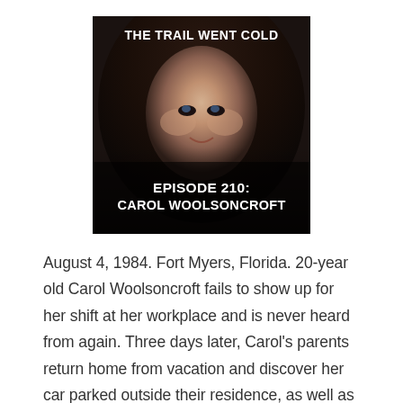[Figure (photo): Podcast cover art for 'The Trail Went Cold', Episode 210: Carol Woolsoncroft. Shows a woman with dark hair against a dark background. White bold text at top reads 'THE TRAIL WENT COLD' and at bottom 'EPISODE 210: CAROL WOOLSONCROFT'.]
August 4, 1984. Fort Myers, Florida. 20-year old Carol Woolsoncroft fails to show up for her shift at her workplace and is never heard from again. Three days later, Carol's parents return home from vacation and discover her car parked outside their residence, as well as a note